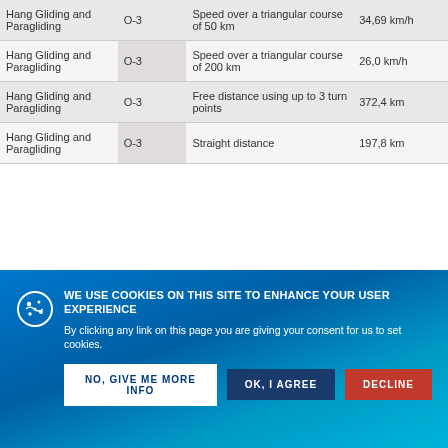| Sport | Category | Description | Record |
| --- | --- | --- | --- |
| Hang Gliding and Paragliding | O-3 | Speed over a triangular course of 50 km | 34,69 km/h |
| Hang Gliding and Paragliding | O-3 | Speed over a triangular course of 200 km | 26,0 km/h |
| Hang Gliding and Paragliding | O-3 | Free distance using up to 3 turn points | 372,4 km |
| Hang Gliding and Paragliding | O-3 | Straight distance | 197,8 km |
| Hang Gliding and Paragliding | O-3 | Free Distance triangle | 269,13 km |
| Hang Gliding and Paragliding | O-3 | Speed over triangular course of ... | 25,43 km/h |
[Figure (infographic): Cookie consent overlay on a blue gradient background. Heading: WE USE COOKIES ON THIS SITE TO ENHANCE YOUR USER EXPERIENCE. Body: By clicking any link on this page you are giving your consent for us to set cookies. Buttons: NO, GIVE ME MORE INFO (white), OK, I AGREE (dark blue), DECLINE (red).]